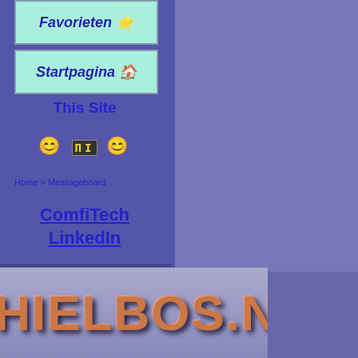Favorieten ⭐
Startpagina 🏠
This Site
[Figure (illustration): Smiley face emoji, Gemini zodiac pixel icon, smiley face emoji in a row]
Home > Messageboard
ComfiTech LinkedIn
[Figure (logo): AbuseIPDB contributor badge: red circle with slash over a black hat icon]
AbuseIPDB Contributor
9 IPs Reported
CHIELBOS.NL